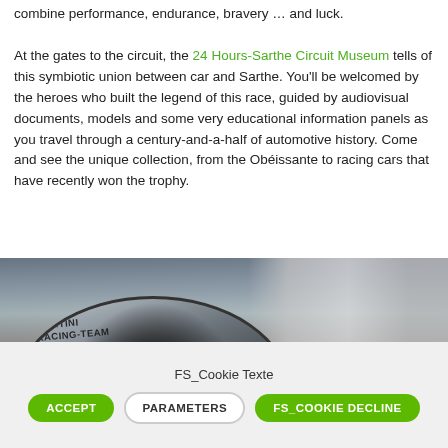combine performance, endurance, bravery … and luck. At the gates to the circuit, the 24 Hours-Sarthe Circuit Museum tells of this symbiotic union between car and Sarthe. You'll be welcomed by the heroes who built the legend of this race, guided by audiovisual documents, models and some very educational information panels as you travel through a century-and-a-half of automotive history. Come and see the unique collection, from the Obéissante to racing cars that have recently won the trophy.
[Figure (photo): Interior photo of the 24 Hours-Sarthe Circuit Museum showing a racing car with a windshield bearing 'MARTINI RACING-TEAM' branding in the foreground, with black-and-white photographic murals of racing scenes in the background.]
FS_Cookie Texte
ACCEPT
PARAMETERS
FS_COOKIE DECLINE